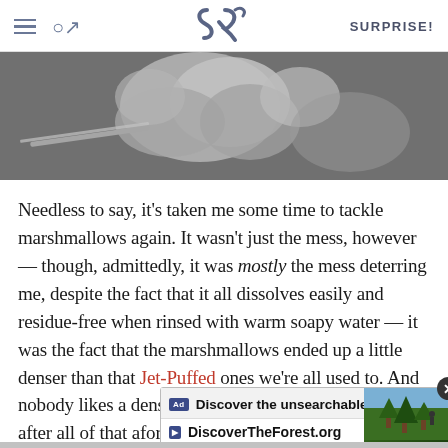SK | SURPRISE!
[Figure (photo): Black and white close-up photo of marshmallow or white confection being mixed/handled]
Needless to say, it’s taken me some time to tackle marshmallows again. It wasn’t just the mess, however — though, admittedly, it was mostly the mess deterring me, despite the fact that it all dissolves easily and residue-free when rinsed with warm soapy water — it was the fact that the marshmallows ended up a little denser than that Jet-Puffed ones we’re all used to. And nobody likes a dense, chewy marshmallow. Especially after all of that aforementioned drama.
[Figure (screenshot): Advertisement banner: Discover the unsearchable / DiscoverTheForest.org with close button and forest photo]